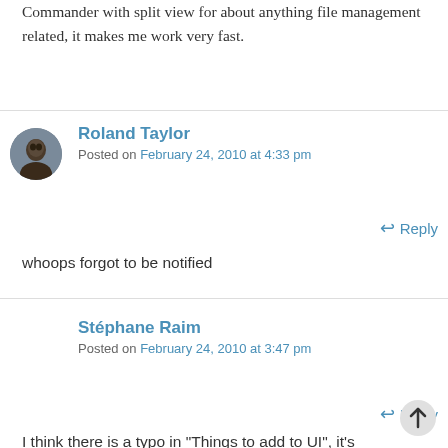Commander with split view for about anything file management related, it makes me work very fast.
Roland Taylor
Posted on February 24, 2010 at 4:33 pm
Reply
whoops forgot to be notified
Stéphane Raim
Posted on February 24, 2010 at 3:47 pm
Reply
I think there is a typo in "Things to add to UI", it's